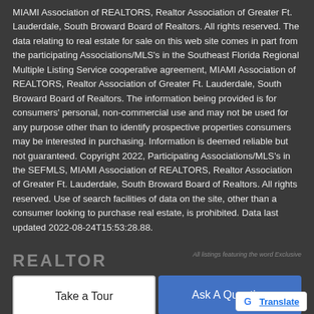MIAMI Association of REALTORS, Realtor Association of Greater Ft. Lauderdale, South Broward Board of Realtors. All rights reserved. The data relating to real estate for sale on this web site comes in part from the participating Associations/MLS's in the Southeast Florida Regional Multiple Listing Service cooperative agreement, MIAMI Association of REALTORS, Realtor Association of Greater Ft. Lauderdale, South Broward Board of Realtors. The information being provided is for consumers' personal, non-commercial use and may not be used for any purpose other than to identify prospective properties consumers may be interested in purchasing. Information is deemed reliable but not guaranteed. Copyright 2022, Participating Associations/MLS's in the SEFMLS, MIAMI Association of REALTORS, Realtor Association of Greater Ft. Lauderdale, South Broward Board of Realtors. All rights reserved. Use of search facilities of data on the site, other than a consumer looking to purchase real estate, is prohibited. Data last updated 2022-08-24T15:53:28.88.
[Figure (logo): Realtor association logo strip with icons and text]
Take a Tour
Ask A Question
G Translate